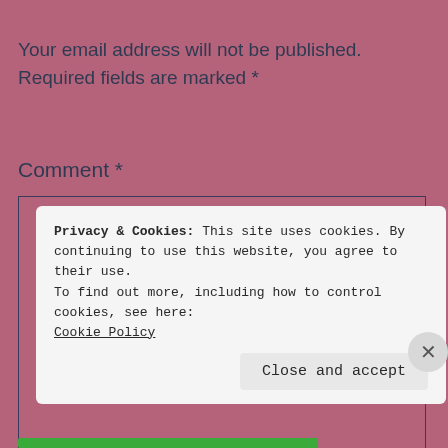Your email address will not be published. Required fields are marked *
Comment *
[Figure (other): Empty comment text area form field with dark border on pink/mauve background]
Privacy & Cookies: This site uses cookies. By continuing to use this website, you agree to their use.
To find out more, including how to control cookies, see here:
Cookie Policy
Close and accept